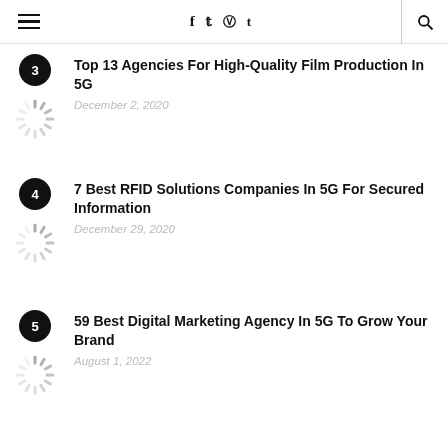≡   f  t  pinterest  tumblr   🔍
Top 13 Agencies For High-Quality Film Production In 5G — December 2, 2020
7 Best RFID Solutions Companies In 5G For Secured Information — December 29, 2020
59 Best Digital Marketing Agency In 5G To Grow Your Brand — August 1, 2022